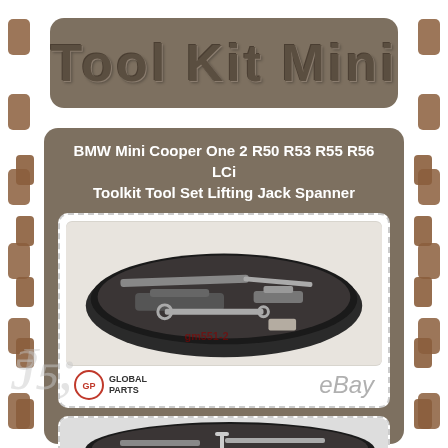Tool Kit Mini
BMW Mini Cooper One 2 R50 R53 R55 R56 LCi Toolkit Tool Set Lifting Jack Spanner
[Figure (photo): BMW Mini Cooper toolkit/tool set in a black foam-lined case showing jack, spanner and other tools. Global Parts and eBay logos visible below the product photo.]
[Figure (photo): Second partial view of the BMW Mini Cooper toolkit case, showing the case from a different angle.]